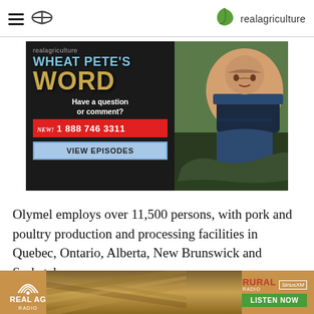realagriculture
[Figure (illustration): Wheat Pete's Word advertisement banner with phone number 1 888 746 3311 and View Episodes button, alongside photo of smiling man crouching in field]
Olymel employs over 11,500 persons, with pork and poultry production and processing facilities in Quebec, Ontario, Alberta, New Brunswick and Saskatchewan
[Figure (illustration): Real AG Radio advertisement banner with Rural Radio and SiriusXM logos and Listen Now button]